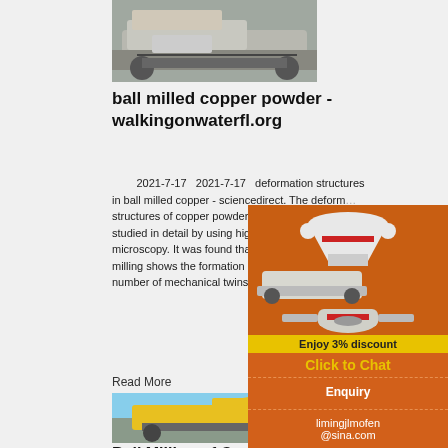[Figure (photo): Industrial crawler/tracked mining crusher machine, top portion visible, light colored]
ball milled copper powder - walkingonwaterfl.org
2021-7-17   2021-7-17   deformation structures in ball milled copper - sciencedirect. The deformation structures of copper powder induced by ball milling were studied in detail by using high resolution electron microscopy. It was found that copper powder after a stage of milling shows the formation of shear bands and a large number of mechanical twins.
Read More
[Figure (photo): Yellow excavator/crawler mining machine working on crushed stone pile against blue sky]
Ball Milling of Copper Powder Under Dry
[Figure (photo): Sidebar advertisement showing industrial grinding/crushing equipment on orange background]
Enjoy 3% discount
Click to Chat
Enquiry
limingjlmofen @sina.com